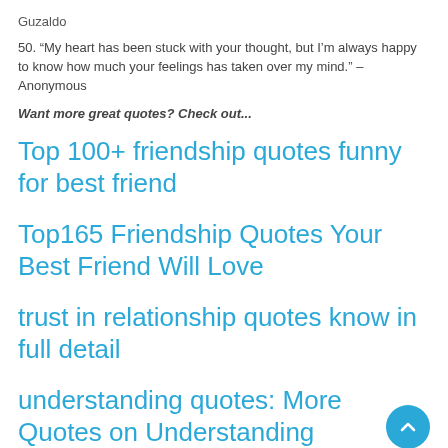Guzaldo
50. “My heart has been stuck with your thought, but I’m always happy to know how much your feelings has taken over my mind.” – Anonymous
Want more great quotes? Check out...
Top 100+ friendship quotes funny for best friend
Top165 Friendship Quotes Your Best Friend Will Love
trust in relationship quotes know in full detail
understanding quotes: More Quotes on Understanding